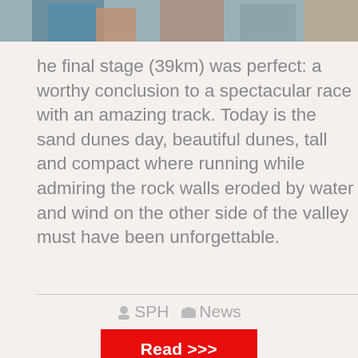[Figure (photo): Partial photo strip at top showing people, cropped at bottom edge]
he final stage (39km) was perfect: a worthy conclusion to a spectacular race with an amazing track. Today is the sand dunes day, beautiful dunes, tall and compact where running while admiring the rock walls eroded by water and wind on the other side of the valley must have been unforgettable.
SPH   News
Read >>>
MAY 09